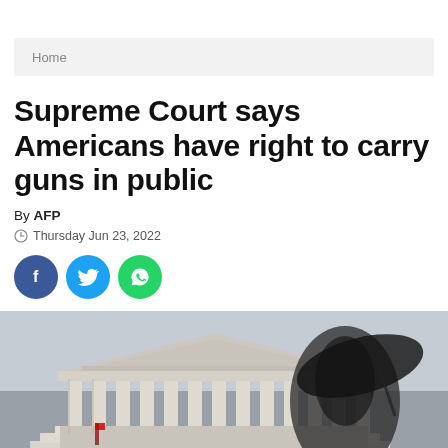Home
Supreme Court says Americans have right to carry guns in public
By AFP
Thursday Jun 23, 2022
[Figure (other): Social share icons: Facebook, Twitter, WhatsApp]
[Figure (photo): A blurred person carrying an umbrella walks in front of the US Supreme Court building on an overcast day]